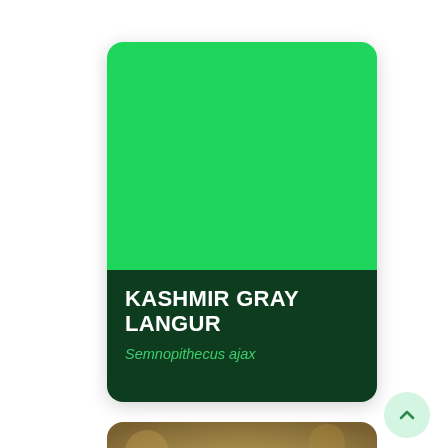[Figure (illustration): A card UI element with a bright green (#1DD65B) upper portion representing an image placeholder, and a dark green (#0D3D1E) lower portion containing the species name 'KASHMIR GRAY LANGUR' in white bold uppercase text and the scientific name 'Semnopithecus ajax' in green italic text. The card has rounded corners.]
KASHMIR GRAY LANGUR
Semnopithecus ajax
[Figure (photo): A partially visible photograph of what appears to be a langur monkey, blurry and warm-toned, showing the top of the animal's head against a bokeh background.]